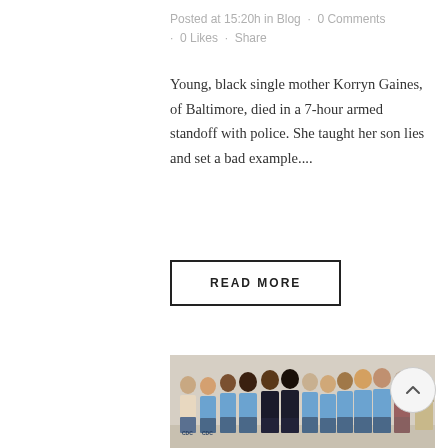Posted at 15:20h in Blog · 0 Comments · 0 Likes · Share
Young, black single mother Korryn Gaines, of Baltimore, died in a 7-hour armed standoff with police. She taught her son lies and set a bad example....
READ MORE
[Figure (photo): Group photo of approximately 12 men, most wearing blue shirts/uniforms, standing together indoors in front of a light-colored wall.]